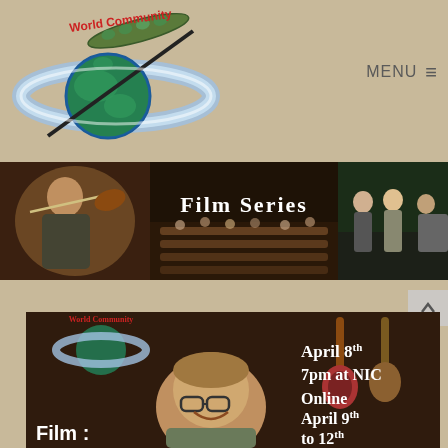[Figure (logo): World Community organization logo with globe and spaceship-like rings]
MENU ☰
[Figure (photo): Film Series banner: left panel shows man playing violin, center panel shows audience in auditorium with 'Film Series' text overlay, right panel shows people standing in a room]
[Figure (photo): Promotional image for World Community Film Series showing a smiling man in a music store with text: April 8th 7pm at NIC, Online April 9th to 12th, Film:]